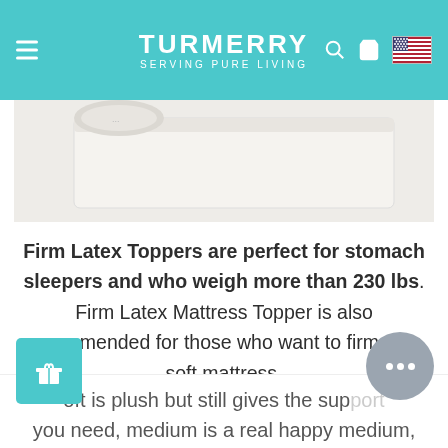TURMERRY SERVING PURE LIVING
[Figure (photo): Partial view of a white rolled latex mattress topper on a light grey background]
Firm Latex Toppers are perfect for stomach sleepers and who weigh more than 230 lbs. Firm Latex Mattress Topper is also recommended for those who want to firm up a soft mattress.
oft is plush but still gives the support you need, medium is a real happy medium,